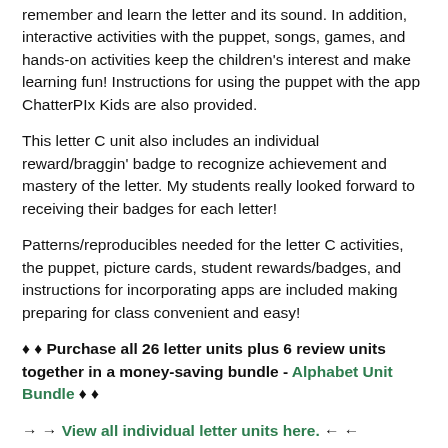remember and learn the letter and its sound. In addition, interactive activities with the puppet, songs, games, and hands-on activities keep the children's interest and make learning fun! Instructions for using the puppet with the app ChatterPIx Kids are also provided.
This letter C unit also includes an individual reward/braggin' badge to recognize achievement and mastery of the letter. My students really looked forward to receiving their badges for each letter!
Patterns/reproducibles needed for the letter C activities, the puppet, picture cards, student rewards/badges, and instructions for incorporating apps are included making preparing for class convenient and easy!
♦ ♦ Purchase all 26 letter units plus 6 review units together in a money-saving bundle - Alphabet Unit Bundle ♦ ♦
→ → View all individual letter units here. ← ←
****************************************************************************
TpT gives credits for every $ you spend ONLY after you provide feedback. You may use your credit points for future purchase of any